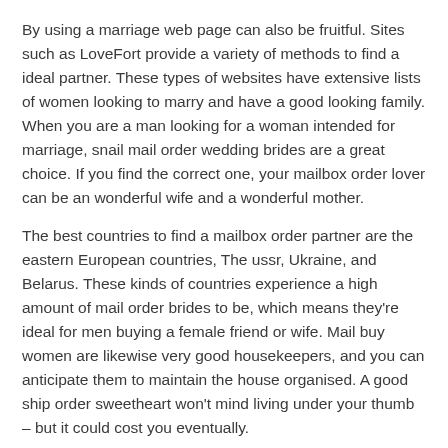By using a marriage web page can also be fruitful. Sites such as LoveFort provide a variety of methods to find a ideal partner. These types of websites have extensive lists of women looking to marry and have a good looking family. When you are a man looking for a woman intended for marriage, snail mail order wedding brides are a great choice. If you find the correct one, your mailbox order lover can be an wonderful wife and a wonderful mother.
The best countries to find a mailbox order partner are the eastern European countries, The ussr, Ukraine, and Belarus. These kinds of countries experience a high amount of mail order brides to be, which means they're ideal for men buying a female friend or wife. Mail buy women are likewise very good housekeepers, and you can anticipate them to maintain the house organised. A good ship order sweetheart won't mind living under your thumb – but it could cost you eventually.
Before you start buying mail buy girlfriend, you must decide on the main reason for your interest. If you want tropical sex which has a woman from a foreign country, you must opt for a paid out service. In any other case, you could be wasting your time. If you're buying a companion to get a lifelong romance, you should consider a